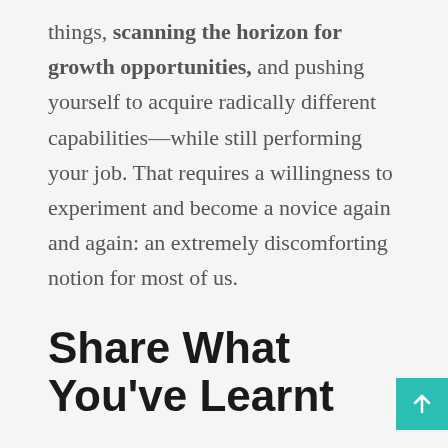things, scanning the horizon for growth opportunities, and pushing yourself to acquire radically different capabilities—while still performing your job. That requires a willingness to experiment and become a novice again and again: an extremely discomforting notion for most of us.
Share What You've Learnt
Over decades of coaching and consulting to thousands of executives in a variety of industries, however, my colleagues and I have come across people who succeed at this kind of